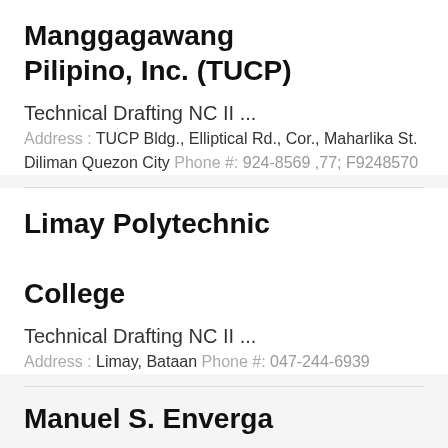Manggagawang Pilipino, Inc. (TUCP)
Technical Drafting NC II ...
Address : TUCP Bldg., Elliptical Rd., Cor., Maharlika St. Diliman Quezon City Phone #: 924-8569 ,77; F9248570
Limay Polytechnic College
Technical Drafting NC II ...
Address : Limay, Bataan Phone #: 047-244-6939
Manuel S. Enverga